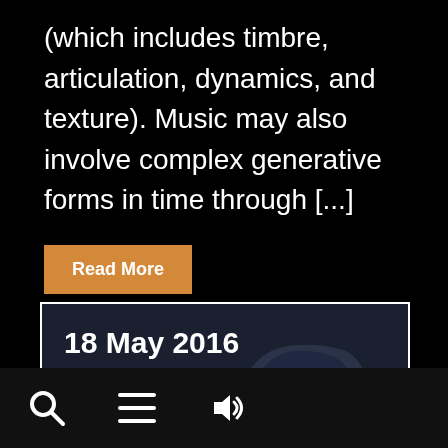(which includes timbre, articulation, dynamics, and texture). Music may also involve complex generative forms in time through [...]
Read More
18 May 2016
[Figure (illustration): Dark card/panel with date '18 May 2016', an orange underline, and a dark silhouette of a car illustration on the right side]
[Figure (other): Bottom navigation bar with search (magnifying glass), menu (hamburger/three lines), and volume (speaker) icons on a dark background]